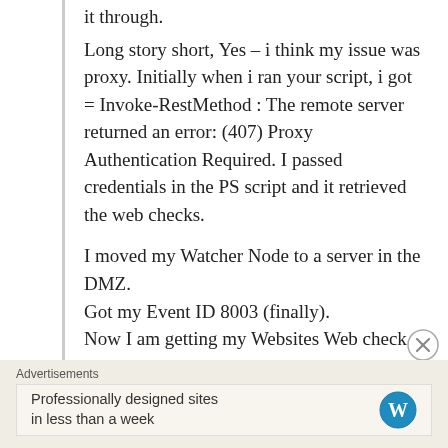it through.
Long story short, Yes – i think my issue was proxy. Initially when i ran your script, i got = Invoke-RestMethod : The remote server returned an error: (407) Proxy Authentication Required. I passed credentials in the PS script and it retrieved the web checks.
I moved my Watcher Node to a server in the DMZ.
Got my Event ID 8003 (finally).
Now I am getting my Websites Web check in State View but it is Red in critical .
Advertisements
Professionally designed sites in less than a week